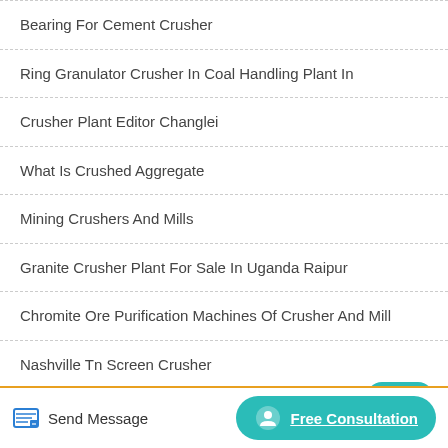Bearing For Cement Crusher
Ring Granulator Crusher In Coal Handling Plant In
Crusher Plant Editor Changlei
What Is Crushed Aggregate
Mining Crushers And Mills
Granite Crusher Plant For Sale In Uganda Raipur
Chromite Ore Purification Machines Of Crusher And Mill
Nashville Tn Screen Crusher
Crusher Safety Instruction Before
Send Message   Free Consultation